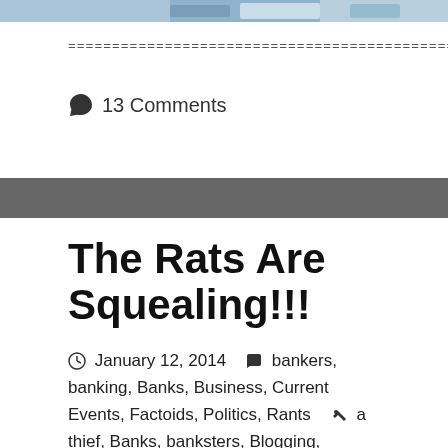[Figure (photo): Partial photo strip at top of page, showing a blue-toned image cropped at the top edge]
================================================================
💬 13 Comments
The Rats Are Squealing!!!
January 12, 2014   bankers, banking, Banks, Business, Current Events, Factoids, Politics, Rants   a thief, Banks, banksters, Blogging, commensurate with the size of the crime, contempt, corruption, crimes, crimes